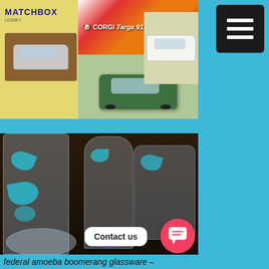[Figure (photo): Vintage toy car boxes including Matchbox and Corgi Targa 911S on a table]
[Figure (photo): Federal amoeba boomerang pattern glassware including tall glasses and a plate on a dark surface, with Contact us button overlay]
federal amoeba boomerang glassware –